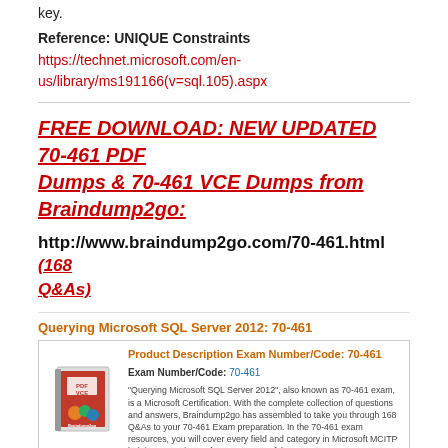key.
Reference: UNIQUE Constraints
https://technet.microsoft.com/en-us/library/ms191166(v=sql.105).aspx
FREE DOWNLOAD: NEW UPDATED 70-461 PDF Dumps & 70-461 VCE Dumps from Braindump2go:
http://www.braindump2go.com/70-461.html (168 Q&As)
Querying Microsoft SQL Server 2012: 70-461
[Figure (other): Product box image with PDF VCE label and Braindump2go logo]
Product Description Exam Number/Code: 70-461
Exam Number/Code: 70-461
"Querying Microsoft SQL Server 2012", also known as 70-461 exam, is a Microsoft Certification. With the complete collection of questions and answers, Braindump2go has assembled to take you through 168 Q&As to your 70-461 Exam preparation. In the 70-461 exam resources, you will cover every field and category in Microsoft MCITP helping to ready you for your successful